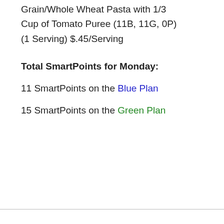Grain/Whole Wheat Pasta with 1/3 Cup of Tomato Puree (11B, 11G, 0P) (1 Serving) $.45/Serving
Total SmartPoints for Monday:
11 SmartPoints on the Blue Plan
15 SmartPoints on the Green Plan